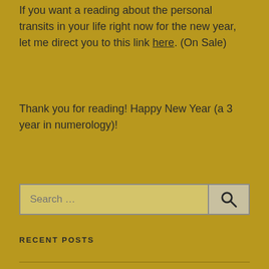If you want a reading about the personal transits in your life right now for the new year, let me direct you to this link here. (On Sale)
Thank you for reading! Happy New Year (a 3 year in numerology)!
RECENT POSTS